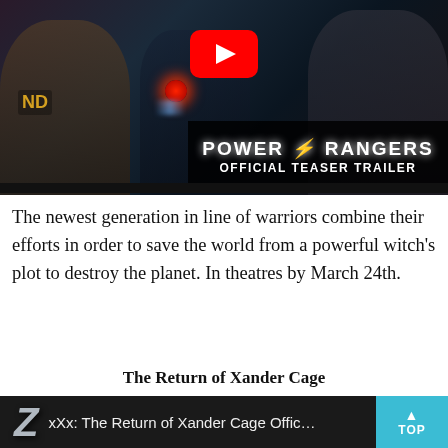[Figure (screenshot): YouTube thumbnail for Power Rangers Official Teaser Trailer showing young cast members with a red glowing orb, YouTube play button overlay, and Power Rangers logo with lightning bolt]
The newest generation in line of warriors combine their efforts in order to save the world from a powerful witch's plot to destroy the planet. In theatres by March 24th.
The Return of Xander Cage
[Figure (screenshot): YouTube thumbnail for xXx: The Return of Xander Cage Official trailer showing Z logo, video title, and a TOP button in cyan]